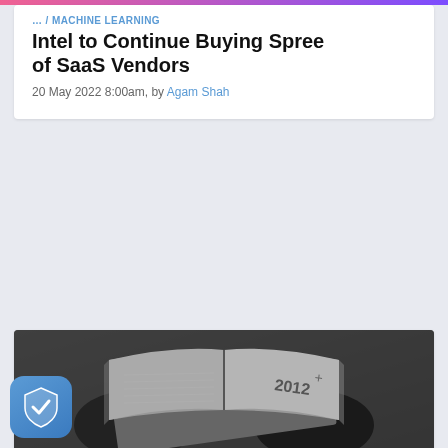… / MACHINE LEARNING
Intel to Continue Buying Spree of SaaS Vendors
20 May 2022 8:00am, by Agam Shah
[Figure (photo): Black and white photo of hands holding open worn notebooks/books with the year 2012 visible]
DATA / MACHINE LEARNING / SPONSORED / CONTRIBUTED
Time Series Forecasting with TensorFlow and InfluxDB
19 May 2022 7:55am, by Gourav Singh Bais